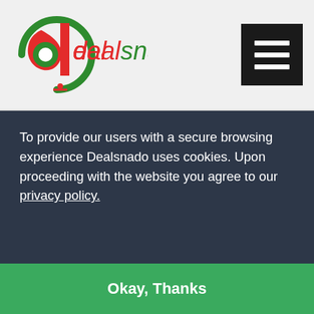[Figure (logo): Dealsnado logo with stylized 'd' icon in red and green, text 'dealsnado' in red and green colors]
[Figure (other): Hamburger menu button (three white horizontal lines on black background)]
festive discounts always during . Of all the festivals, New Year, Valentine's Day, Eastertide, Memorial Day, Mother's Day, Father's Day, Back to School, Halloween, Thanksgiving Day, Black Friday, Cyber Monday, and Christmas readily remain on the page.
Without a wait, try to grab deals via 365 Printing discount codes and comes across with the best deals on...
To provide our users with a secure browsing experience Dealsnado uses cookies. Upon proceeding with the website you agree to our privacy policy.
Okay, Thanks
[Figure (other): 365 IN LOVE text/logo at bottom of page]